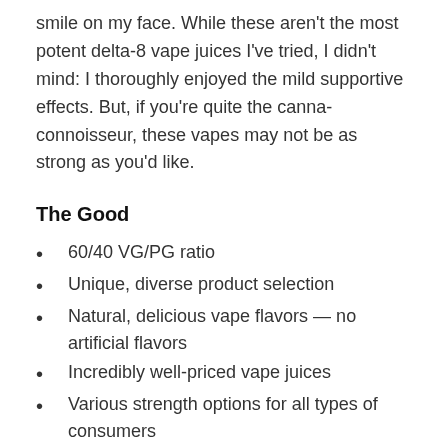smile on my face. While these aren't the most potent delta-8 vape juices I've tried, I didn't mind: I thoroughly enjoyed the mild supportive effects. But, if you're quite the canna-connoisseur, these vapes may not be as strong as you'd like.
The Good
60/40 VG/PG ratio
Unique, diverse product selection
Natural, delicious vape flavors — no artificial flavors
Incredibly well-priced vape juices
Various strength options for all types of consumers
Clear, easy to read packaging